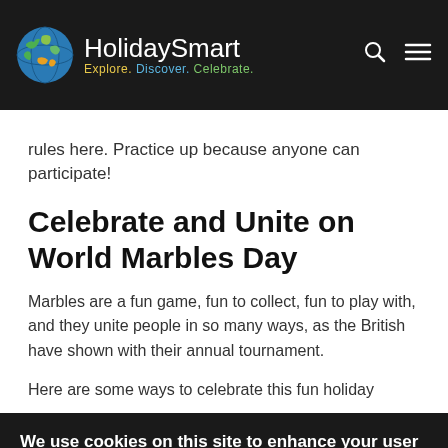HolidaySmart — Explore. Discover. Celebrate.
rules here. Practice up because anyone can participate!
Celebrate and Unite on World Marbles Day
Marbles are a fun game, fun to collect, fun to play with, and they unite people in so many ways, as the British have shown with their annual tournament.
Here are some ways to celebrate this fun holiday
We use cookies on this site to enhance your user experience
By clicking the Accept button, you agree to us doing so. More info